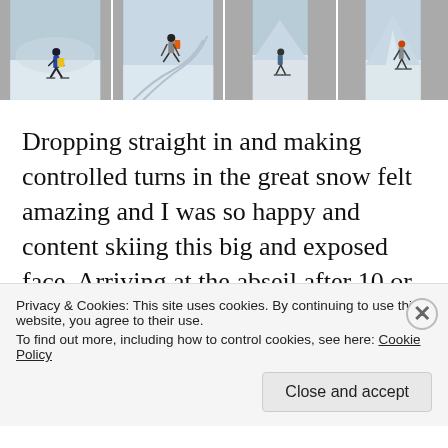[Figure (photo): Four ski/mountain photos in a horizontal strip showing skiers on snowy slopes]
Dropping straight in and making controlled turns in the great snow felt amazing and I was so happy and content skiing this big and exposed face. Arriving at the abseil after 10 or 15 minutes we clipped in. Knowing that the exposed top face was the only thing playing in the back
Privacy & Cookies: This site uses cookies. By continuing to use this website, you agree to their use.
To find out more, including how to control cookies, see here: Cookie Policy
Close and accept